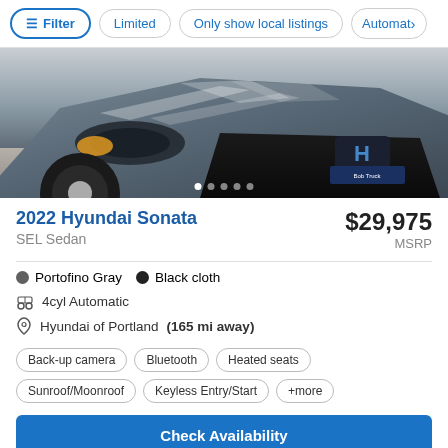Filter | Limited | Only show local listings | Automat›
[Figure (photo): Front view of a gray 2022 Hyundai Sonata in a dealership setting, showing the hood, headlights, and grille with Hyundai logo badge]
2022 Hyundai Sonata
$29,975 MSRP
SEL Sedan
Portofino Gray  Black cloth
4cyl Automatic
Hyundai of Portland (165 mi away)
Back-up camera
Bluetooth
Heated seats
Sunroof/Moonroof
Keyless Entry/Start
+more
Check Availability